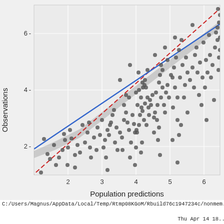[Figure (continuous-plot): Scatter plot of Observations (y-axis) vs Population predictions (x-axis). Dense cloud of dark grey dots with positive correlation. A solid blue regression line with grey confidence band runs from lower-left to upper-right. A red dashed identity/reference line also runs from lower-left to upper-right, slightly above the blue line at lower values and below at higher values. Y-axis ticks at 2, 4, 6. X-axis ticks at 2, 3, 4, 5, 6. Plot area has light grey background with white gridlines.]
C:/Users/Magnus/AppData/Local/Temp/Rtmp08KGoM/Rbuild76c1947234c/nonmem...
Thu Apr 14 18...